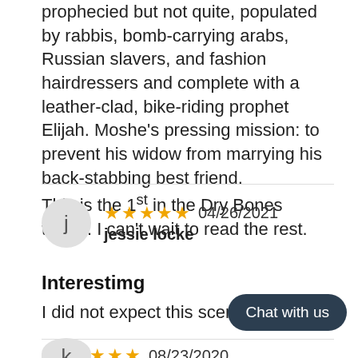prophecied but not quite, populated by rabbis, bomb-carrying arabs, Russian slavers, and fashion hairdressers and complete with a leather-clad, bike-riding prophet Elijah. Moshe's pressing mission: to prevent his widow from marrying his back-stabbing best friend.
This is the 1st in the Dry Bones trilogy. I can't wait to read the rest.
★★★★★  04/26/2021
jessie locke
Interestimg
I did not expect this scenario
Chat with us
★★★★★  08/23/2020
k